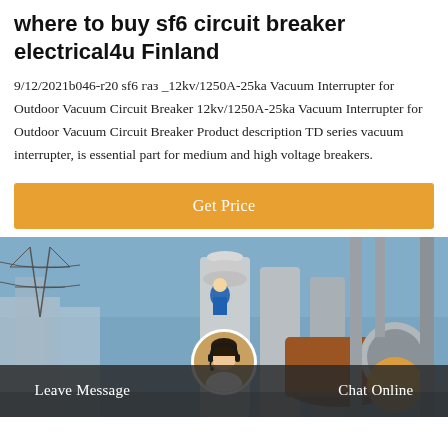where to buy sf6 circuit breaker electrical4u Finland
9/12/2021b046-r20 sf6 газ _12kv/1250A-25ka Vacuum Interrupter for Outdoor Vacuum Circuit Breaker 12kv/1250A-25ka Vacuum Interrupter for Outdoor Vacuum Circuit Breaker Product description TD series vacuum interrupter, is essential part for medium and high voltage breakers.
Get Price
[Figure (photo): Industrial electrical substation with high voltage equipment including transformers and circuit breakers, with a worker in blue gear visible. Orange circular logo visible in lower right.]
Leave Message
Chat Online